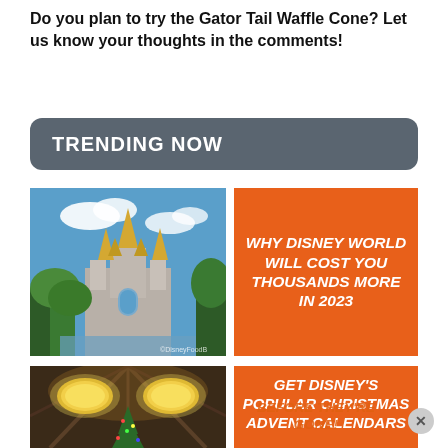Do you plan to try the Gator Tail Waffle Cone? Let us know your thoughts in the comments!
TRENDING NOW
[Figure (photo): Photo of Cinderella Castle at Disney World with blue sky and clouds]
WHY DISNEY WORLD WILL COST YOU THOUSANDS MORE IN 2023
read more
[Figure (photo): Photo of a Disney resort interior with large yellow lantern-style lights and a Christmas tree]
GET DISNEY'S POPULAR CHRISTMAS ADVENT CALENDARS BEFORE THEY'RE GONE!